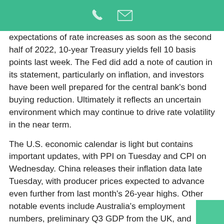[phone icon] [mail icon]
expectations of rate increases as soon as the second half of 2022, 10-year Treasury yields fell 10 basis points last week. The Fed did add a note of caution in its statement, particularly on inflation, and investors have been well prepared for the central bank's bond buying reduction. Ultimately it reflects an uncertain environment which may continue to drive rate volatility in the near term.
The U.S. economic calendar is light but contains important updates, with PPI on Tuesday and CPI on Wednesday. China releases their inflation data late Tuesday, with producer prices expected to advance even further from last month's 26-year highs. Other notable events include Australia's employment numbers, preliminary Q3 GDP from the UK, and Eurozone sentiment and industrial production figures. The week finishes up with U.S. Jolts job openings and a preliminary consumer sentiment reading for November.